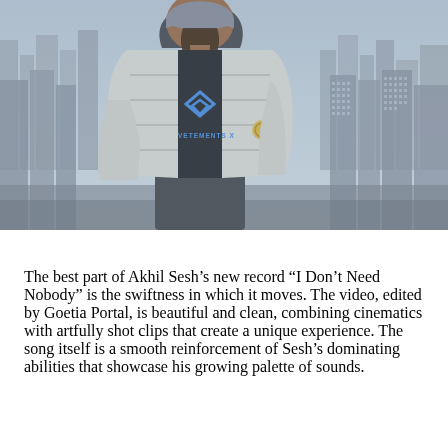[Figure (photo): A man wearing a grey beanie, a grey puffer jacket with a Stone Island badge, and a black Vetements x Umbro hoodie, standing in front of a New York City skyline on a hazy day.]
The best part of Akhil Sesh's new record “I Don’t Need Nobody” is the swiftness in which it moves. The video, edited by Goetia Portal, is beautiful and clean, combining cinematics with artfully shot clips that create a unique experience. The song itself is a smooth reinforcement of Sesh’s dominating abilities that showcase his growing palette of sounds.